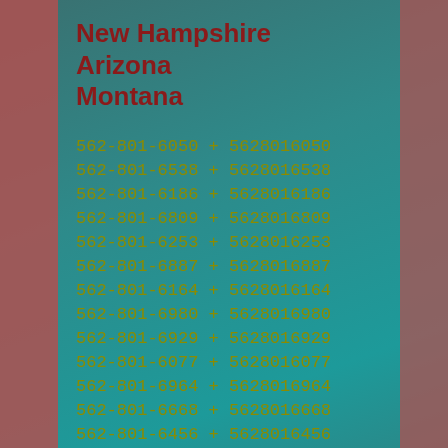New Hampshire
Arizona
Montana
562-801-6050 + 5628016050
562-801-6538 + 5628016538
562-801-6186 + 5628016186
562-801-6809 + 5628016809
562-801-6253 + 5628016253
562-801-6887 + 5628016887
562-801-6164 + 5628016164
562-801-6980 + 5628016980
562-801-6929 + 5628016929
562-801-6077 + 5628016077
562-801-6964 + 5628016964
562-801-6668 + 5628016668
562-801-6456 + 5628016456
562-801-6262 + 5628016262
562-801-6063 + 5628016063
562-801-6622 + 5628016622
562-801-6973 + 5628016973